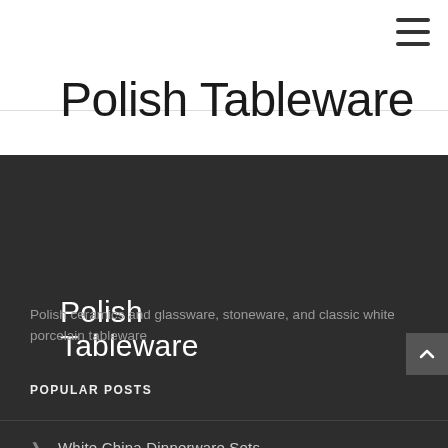Polish Tableware
Polish Tableware
Polish ceramics and glassware, stoneware, and classic white porcelain tableware
POPULAR POSTS
White China Dinnerware Sets
Porcelain plates Sets